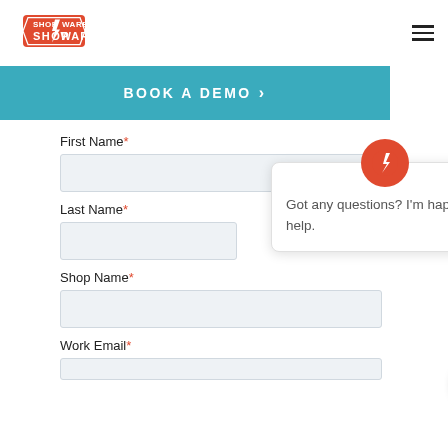[Figure (logo): Shop-Ware logo: orange hexagonal badge shape with white text SHOP WARE and a lightning bolt]
BOOK A DEMO ›
First Name*
Last Name*
Got any questions? I'm happy to help.
Shop Name*
Work Email*